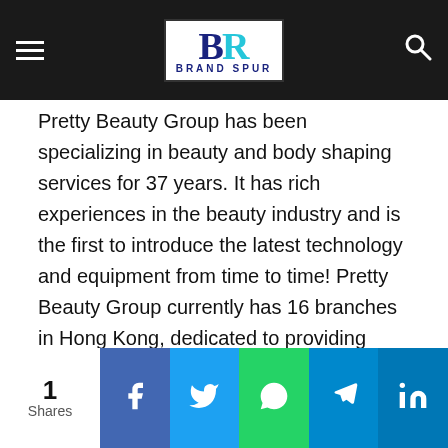Brand Spur logo navigation header
Pretty Beauty Group has been specializing in beauty and body shaping services for 37 years. It has rich experiences in the beauty industry and is the first to introduce the latest technology and equipment from time to time! Pretty Beauty Group currently has 16 branches in Hong Kong, dedicated to providing professional, safe, reliable and attentive beauty and slimming experience for ladies who love beauty. To learn more about beauty, skin, and body shape treatments, please visit https://prettybeautygroup.com.
#PrettyBeauty
1 Shares | Facebook | Twitter | WhatsApp | Telegram | LinkedIn